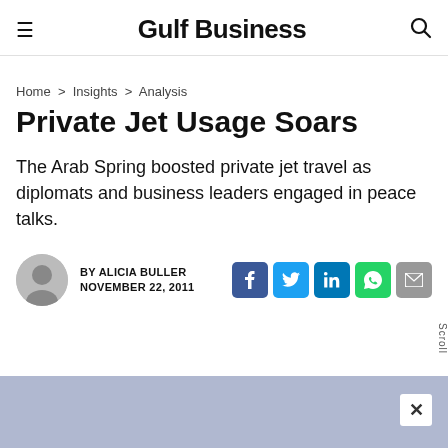Gulf Business
Home > Insights > Analysis
Private Jet Usage Soars
The Arab Spring boosted private jet travel as diplomats and business leaders engaged in peace talks.
BY ALICIA BULLER
NOVEMBER 22, 2011